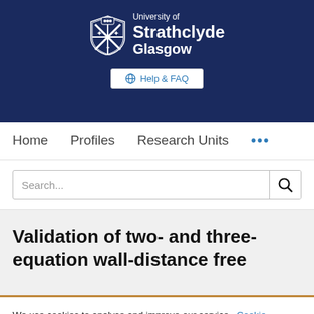[Figure (logo): University of Strathclyde Glasgow logo with shield emblem on dark navy background]
Help & FAQ
Home   Profiles   Research Units   ...
Search...
Validation of two- and three-equation wall-distance free
We use cookies to analyse and improve our service. Cookie Policy